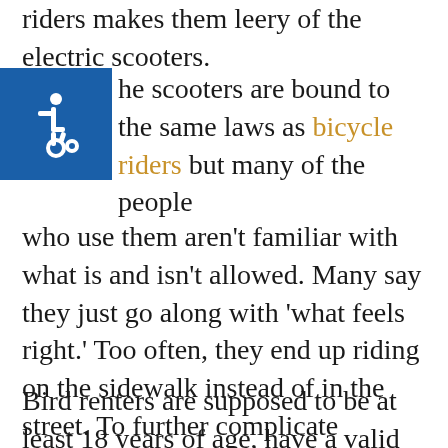riders makes them leery of the electric scooters.
[Figure (illustration): Wheelchair accessibility icon — white wheelchair symbol on blue square background]
The scooters are bound to the same laws as bicycle riders but many of the people who use them aren't familiar with what is and isn't allowed. Many say they just go along with 'what feels right.' Too often, they end up riding on the sidewalk instead of in the street. To further complicate matters, the laws about riding on the sidewalks differ among California cities. The fact that scooter riders just go where they want ends up putting pedestrians in harm's way.
Bird renters are supposed to be at least 18 years of age, have a valid driver's license,